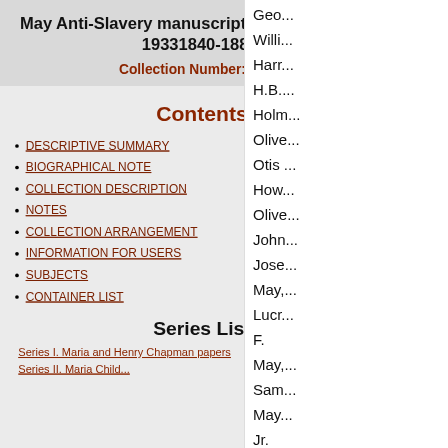May Anti-Slavery manuscript collection, 1749-19331840-1880
Collection Number: 4601
Contents
DESCRIPTIVE SUMMARY
BIOGRAPHICAL NOTE
COLLECTION DESCRIPTION
NOTES
COLLECTION ARRANGEMENT
INFORMATION FOR USERS
SUBJECTS
CONTAINER LIST
Series List
Series I. Maria and Henry Chapman papers
Geo...
Willi...
Harr...
H.B....
Holm...
Olive...
Otis ...
How...
Olive...
John...
Jose...
May,...
Lucr...
F.
May,...
Sam...
May...
Jr.